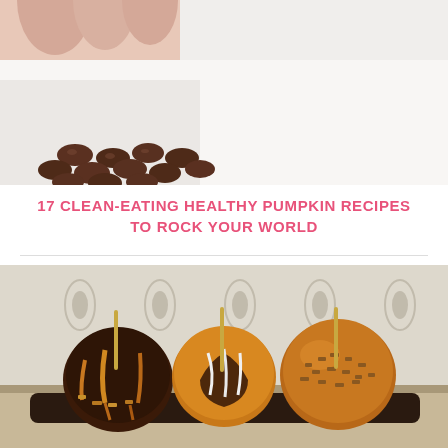[Figure (photo): Close-up photo of chocolate chips piled on a white surface with a hand visible at the top]
17 CLEAN-EATING HEALTHY PUMPKIN RECIPES TO ROCK YOUR WORLD
[Figure (photo): Three caramel and chocolate-dipped candy apples on sticks arranged on a dark tray, with a decorative patterned wallpaper background]